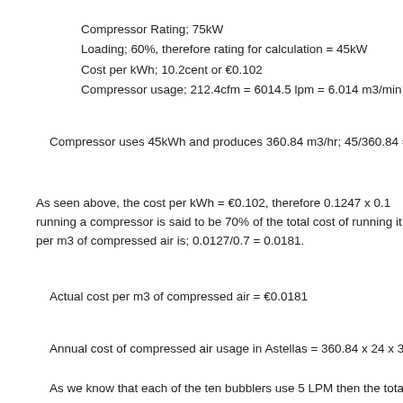Compressor Rating; 75kW
Loading; 60%, therefore rating for calculation = 45kW
Cost per kWh; 10.2cent or €0.102
Compressor usage; 212.4cfm = 6014.5 lpm = 6.014 m3/min =
Compressor uses 45kWh and produces 360.84 m3/hr; 45/360.84 =
As seen above, the cost per kWh = €0.102, therefore 0.1247 x 0.1 running a compressor is said to be 70% of the total cost of running it (i per m3 of compressed air is; 0.0127/0.7 = 0.0181.
Actual cost per m3 of compressed air = €0.0181
Annual cost of compressed air usage in Astellas = 360.84 x 24 x 365
As we know that each of the ten bubblers use 5 LPM then the total